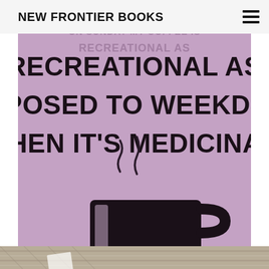NEW FRONTIER BOOKS
[Figure (photo): Purple/lavender painted wall with bold black text reading 'RECREATIONAL AS OPPOSED TO WEEKDAYS WHEN IT’S MEDICINAL.' and a black silhouette of a steaming coffee mug below the text. Above this image, partially visible text reads 'ON SUNDAY MY COFFEE IS RECREATIONAL AS'.]
[Figure (photo): Bottom portion of a photo showing a textured woven fabric/blanket in beige and grey tones, with a partial view of what appears to be a white paper or card.]